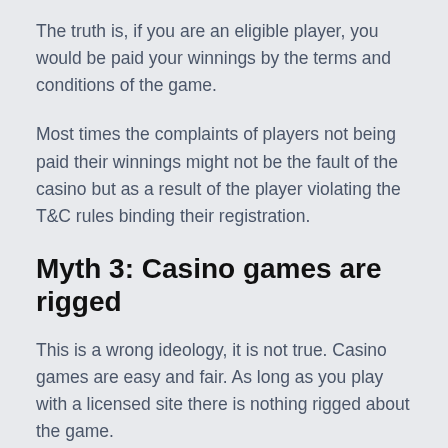The truth is, if you are an eligible player, you would be paid your winnings by the terms and conditions of the game.
Most times the complaints of players not being paid their winnings might not be the fault of the casino but as a result of the player violating the T&C rules binding their registration.
Myth 3: Casino games are rigged
This is a wrong ideology, it is not true. Casino games are easy and fair. As long as you play with a licensed site there is nothing rigged about the game.
Most online game providers use a random number of generators or RNGs that are displayed on the screen as